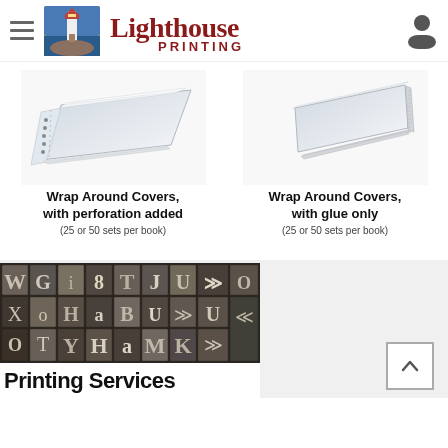Lighthouse Printing — navigation header with hamburger menu, lighthouse logo, brand name, and user icon
[Figure (photo): Wrap around covers notepad with perforation — white notepad with spiral/perforation on left side]
Wrap Around Covers, with perforation added
(25 or 50 sets per book)
[Figure (photo): Wrap around covers notepad with glue only — white notepad with glue binding on right side]
Wrap Around Covers, with glue only
(25 or 50 sets per book)
[Figure (photo): Metal letterpress type blocks arranged in a grid — various letters and characters in metallic print type]
Printing Services